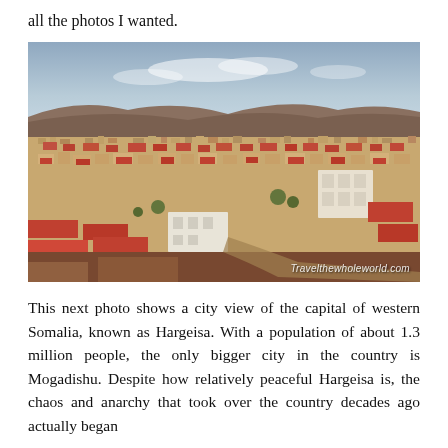all the photos I wanted.
[Figure (photo): Aerial/elevated city view of Hargeisa, capital of western Somalia, showing dense urban settlement with red-roofed buildings, a large valley and hills in the background under a partly cloudy blue-grey sky. Watermark reads: Travelthewholeworld.com]
This next photo shows a city view of the capital of western Somalia, known as Hargeisa. With a population of about 1.3 million people, the only bigger city in the country is Mogadishu. Despite how relatively peaceful Hargeisa is, the chaos and anarchy that took over the country decades ago actually began